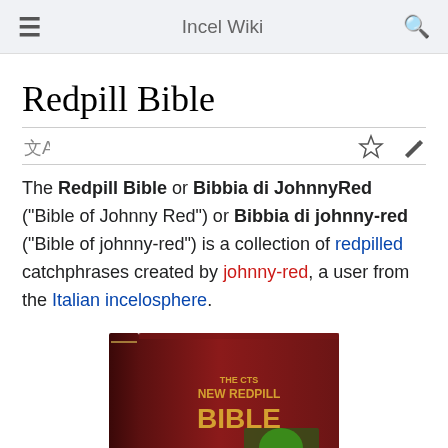Incel Wiki
Redpill Bible
The Redpill Bible or Bibbia di JohnnyRed ("Bible of Johnny Red") or Bibbia di johnny-red ("Bible of johnny-red") is a collection of redpilled catchphrases created by johnny-red, a user from the Italian incelosphere.
[Figure (photo): A dark red/maroon hardcover book titled 'THE CTS NEW REDPILL BIBLE' with a cartoon image on the cover.]